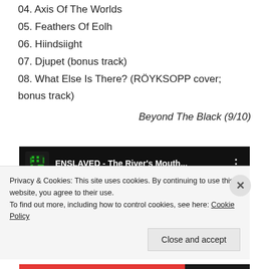04. Axis Of The Worlds
05. Feathers Of Eolh
06. Hiindsiight
07. Djupet (bonus track)
08. What Else Is There? (RÖYKSOPP cover; bonus track)
Beyond The Black (9/10)
[Figure (screenshot): YouTube video thumbnail for ENSLAVED - The River's Mouth... with play button overlay]
Privacy & Cookies: This site uses cookies. By continuing to use this website, you agree to their use.
To find out more, including how to control cookies, see here: Cookie Policy
Close and accept